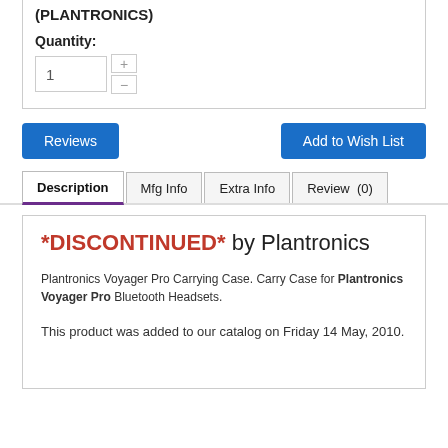(PLANTRONICS)
Quantity: 1
[Figure (screenshot): Quantity input field with value 1 and plus/minus increment buttons]
[Figure (screenshot): Two blue buttons: Reviews and Add to Wish List]
Description | Mfg Info | Extra Info | Review (0) — tab navigation
*DISCONTINUED* by Plantronics
Plantronics Voyager Pro Carrying Case. Carry Case for Plantronics Voyager Pro Bluetooth Headsets.
This product was added to our catalog on Friday 14 May, 2010.